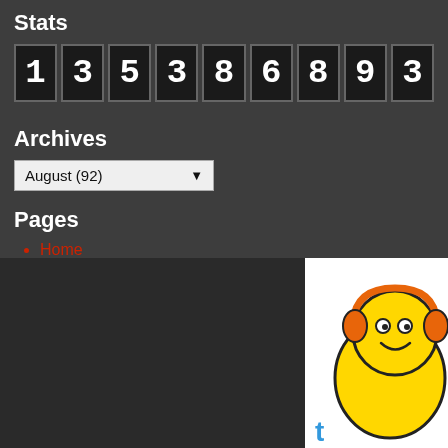Stats
[Figure (other): Odometer-style digit counter showing the number 135386893]
Archives
August (92)
Pages
Home
[Figure (illustration): Cartoon mascot character with yellow body, orange headphones, on a white background, partially cropped on the right side of the lower portion of the page]